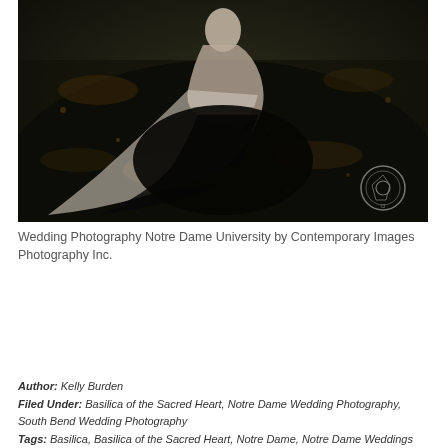[Figure (photo): Dark moody outdoor wedding photo showing a bride in a white gown with a long train, surrounded by fallen autumn leaves on dark grass. A circular photographer watermark logo is visible in the lower right corner.]
Wedding Photography Notre Dame University by Contemporary Images Photography Inc.
Author: Kelly Burden
Filed Under: Basilica of the Sacred Heart, Notre Dame Wedding Photography, South Bend Wedding Photography
Tags: Basilica, Basilica of the Sacred Heart, Notre Dame, Notre Dame Weddings